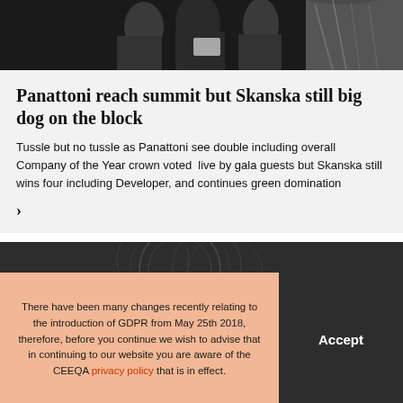[Figure (photo): Black and white photo of people in formal attire at a gala event]
Panattoni reach summit but Skanska still big dog on the block
Tussle but no tussle as Panattoni see double including overall Company of the Year crown voted live by gala guests but Skanska still wins four including Developer, and continues green domination
>
[Figure (photo): Dark background with abstract pattern visible at top of bottom section]
There have been many changes recently relating to the introduction of GDPR from May 25th 2018, therefore, before you continue we wish to advise that in continuing to our website you are aware of the CEEQA privacy policy that is in effect.
Accept